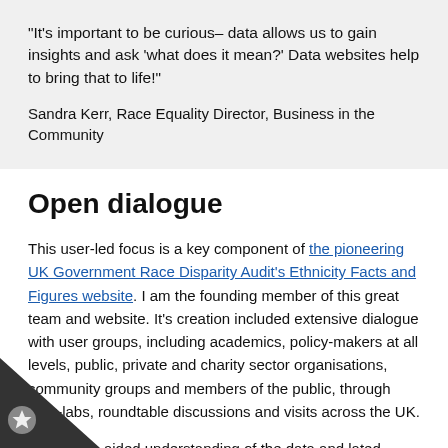“It’s important to be curious– data allows us to gain insights and ask ‘what does it mean?’ Data websites help to bring that to life!”

Sandra Kerr, Race Equality Director, Business in the Community
Open dialogue
This user-led focus is a key component of the pioneering UK Government Race Disparity Audit’s Ethnicity Facts and Figures website. I am the founding member of this great team and website. It’s creation included extensive dialogue with user groups, including academics, policy-makers at all levels, public, private and charity sector organisations, community groups and members of the public, through user-labs, roundtable discussions and visits across the UK.
is dialogue aided understanding of the data and lated debate. It enabled us to really listen to diverse entify expectations and challenges, and how we